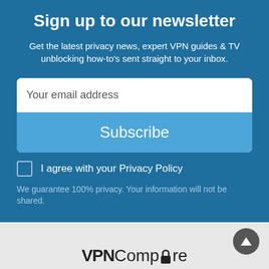Sign up to our newsletter
Get the latest privacy news, expert VPN guides & TV unblocking how-to's sent straight to your inbox.
[Figure (screenshot): Email subscription form with 'Your email address' input field and 'Subscribe' button]
I agree with your Privacy Policy
We guarantee 100% privacy. Your information will not be shared.
[Figure (logo): VPNCompare logo with padlock icon replacing letter 'a']